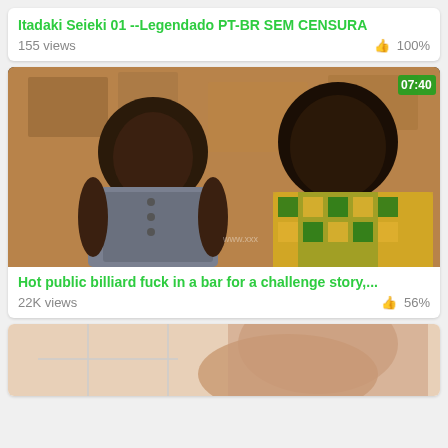Itadaki Seieki 01 --Legendado PT-BR SEM CENSURA
155 views   👍 100%
[Figure (screenshot): Video thumbnail showing two people sitting, with green duration badge 07:40 in top-right corner]
Hot public billiard fuck in a bar for a challenge story,...
22K views   👍 56%
[Figure (screenshot): Partial thumbnail of third video, cropped at bottom of page]